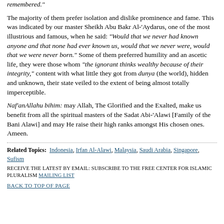remembered."
The majority of them prefer isolation and dislike prominence and fame. This was indicated by our master Sheikh Abu Bakr Al-'Aydarus, one of the most illustrious and famous, when he said: "Would that we never had known anyone and that none had ever known us, would that we never were, would that we were never born." Some of them preferred humility and an ascetic life, they were those whom "the ignorant thinks wealthy because of their integrity," content with what little they got from dunya (the world), hidden and unknown, their state veiled to the extent of being almost totally imperceptible.
Naf'anAllahu bihim: may Allah, The Glorified and the Exalted, make us benefit from all the spiritual masters of the Sadat Abi-'Alawi [Family of the Bani Alawi] and may He raise their high ranks amongst His chosen ones. Ameen.
Related Topics: Indonesia, Irfan Al-Alawi, Malaysia, Saudi Arabia, Singapore, Sufism
RECEIVE THE LATEST BY EMAIL: SUBSCRIBE TO THE FREE CENTER FOR ISLAMIC PLURALISM MAILING LIST
BACK TO TOP OF PAGE